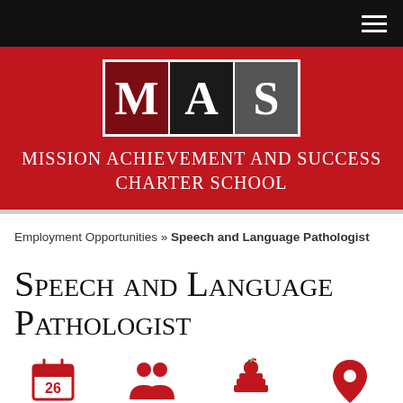[Figure (logo): MAS logo with red M box, black A box, gray S box, white letters on colored backgrounds, bordered in white]
Mission Achievement and Success Charter School
Employment Opportunities » Speech and Language Pathologist
Speech and Language Pathologist
[Figure (infographic): Four red icons in a row: Calendar showing 26, Staff Directory with two people silhouettes, Homework with stacked books and apple, Directions with map pin]
Calendar   Staff Directory   Homework   Directions